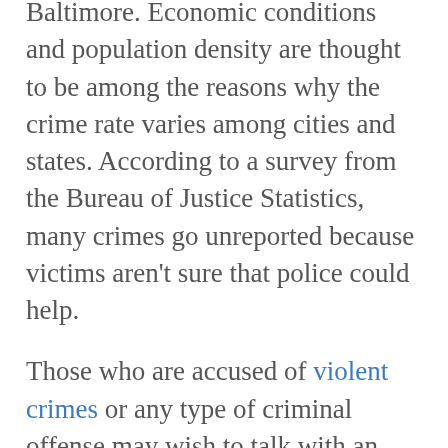Baltimore. Economic conditions and population density are thought to be among the reasons why the crime rate varies among cities and states. According to a survey from the Bureau of Justice Statistics, many crimes go unreported because victims aren't sure that police could help.
Those who are accused of violent crimes or any type of criminal offense may wish to talk with an attorney. Legal counsel may create defenses to the charges, such as arguing that a crime was committed in self-defense or under threat of bodily harm if the
[Figure (other): A circular scroll-to-top button with a chevron/up-arrow icon inside, positioned in the bottom-right area of the page.]